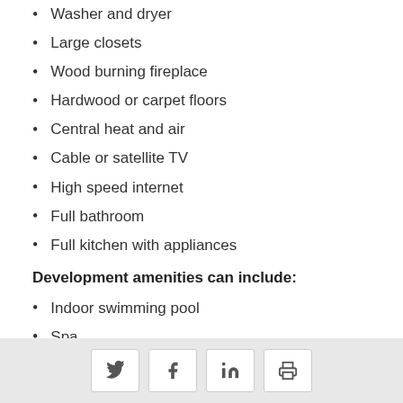Washer and dryer
Large closets
Wood burning fireplace
Hardwood or carpet floors
Central heat and air
Cable or satellite TV
High speed internet
Full bathroom
Full kitchen with appliances
Development amenities can include:
Indoor swimming pool
Spa
24/7 Fitness center
Social share buttons: Twitter, Facebook, LinkedIn, Print